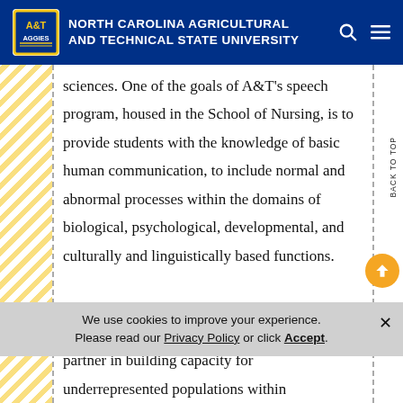North Carolina Agricultural and Technical State University
sciences. One of the goals of A&T's speech program, housed in the School of Nursing, is to provide students with the knowledge of basic human communication, to include normal and abnormal processes within the domains of biological, psychological, developmental, and culturally and linguistically based functions.
We use cookies to improve your experience. Please read our Privacy Policy or click Accept.
partner in building capacity for underrepresented populations within